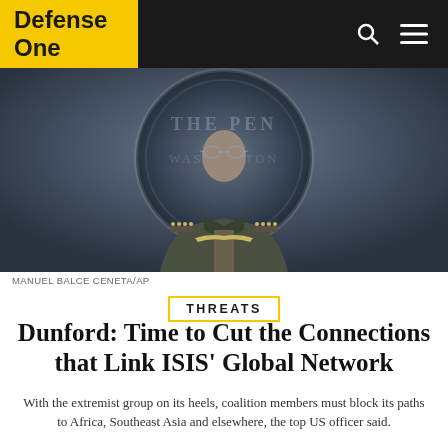Defense One
[Figure (photo): Military officer in uniform speaking at a Pentagon press briefing podium, wearing medals and insignia, with the Pentagon seal visible in the background]
MANUEL BALCE CENETA/AP
THREATS
Dunford: Time to Cut the Connections that Link ISIS’ Global Network
With the extremist group on its heels, coalition members must block its paths to Africa, Southeast Asia and elsewhere, the top US officer said.
CAROLINE HOUCK  |  OCTOBER 26, 2017